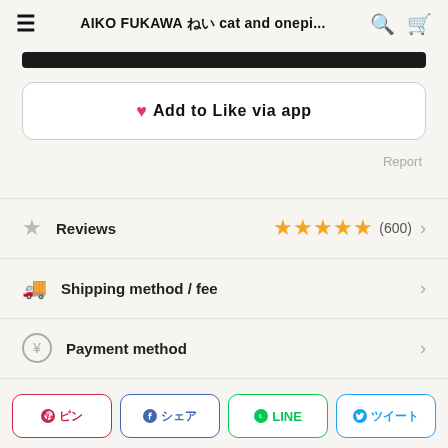AIKO FUKAWA 猫 cat and onepi...
Add to Like via app
Report
Reviews  ★★★★★  (600)
Shipping method / fee
Payment method
ピン シェア LINE ツイート